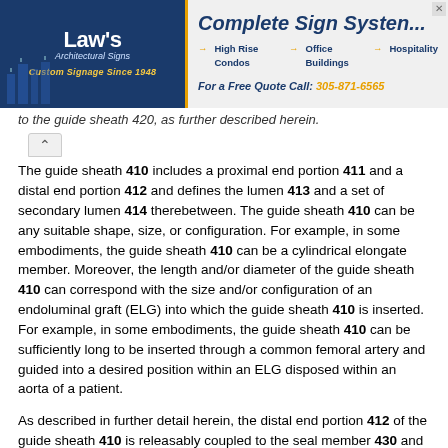[Figure (other): Advertisement banner for Law's Architectural Signs featuring Complete Sign System with links to High Rise Condos, Office Buildings, Hospitality, and phone number 305-871-6565]
to the guide sheath 420, as further described herein.
The guide sheath 410 includes a proximal end portion 411 and a distal end portion 412 and defines the lumen 413 and a set of secondary lumen 414 therebetween. The guide sheath 410 can be any suitable shape, size, or configuration. For example, in some embodiments, the guide sheath 410 can be a cylindrical elongate member. Moreover, the length and/or diameter of the guide sheath 410 can correspond with the size and/or configuration of an endoluminal graft (ELG) into which the guide sheath 410 is inserted. For example, in some embodiments, the guide sheath 410 can be sufficiently long to be inserted through a common femoral artery and guided into a desired position within an ELG disposed within an aorta of a patient.
As described in further detail herein, the distal end portion 412 of the guide sheath 410 is releasably coupled to the seal member 430 and is configured to move (e.g., bend, deflect, deform, or otherwise reconfigure) between a first configuration (see e.g., FIG. 13) and a second configuration (see e.g., FIG. 18). The proximal end portion 411 of the guide sheath 410 is coupled to and/or otherwise disposed within the handle 460 (see e.g., FIG. 14). As described above, the proximal end portion 411 can be arranged relative to the handle 460 such that a cannula and trocar (not shown in FIGS. 13-23)